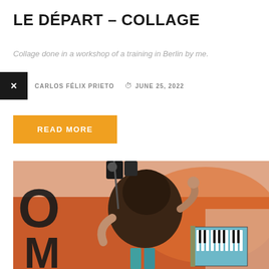LE DÉPART – COLLAGE
Collage done in a workshop of a training in Berlin by me.
× CARLOS FÉLIX PRIETO  🕐 JUNE 25, 2022
READ MORE
[Figure (photo): Collage artwork showing a figure with large hat playing accordion, with bold letter shapes O and M visible in orange and white composition, Berlin street scene background]